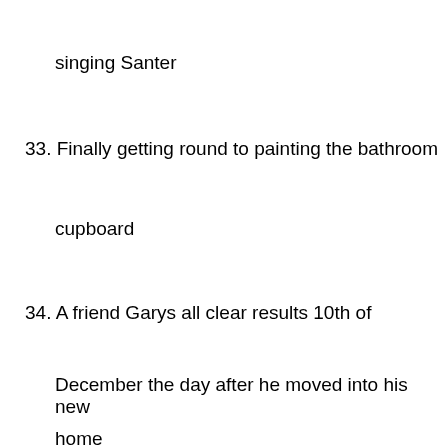singing Santer
33. Finally getting round to painting the bathroom
cupboard
34. A friend Garys all clear results 10th of
December the day after he moved into his new
home